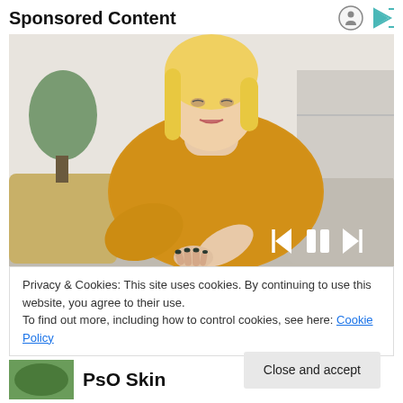Sponsored Content
[Figure (photo): A blonde woman in a yellow sweater sitting on a couch, looking at and touching/scratching her inner elbow/forearm, with a concerned expression. Indoor setting with plants and cushions in the background.]
Privacy & Cookies: This site uses cookies. By continuing to use this website, you agree to their use.
To find out more, including how to control cookies, see here: Cookie Policy
Close and accept
PsO Skin